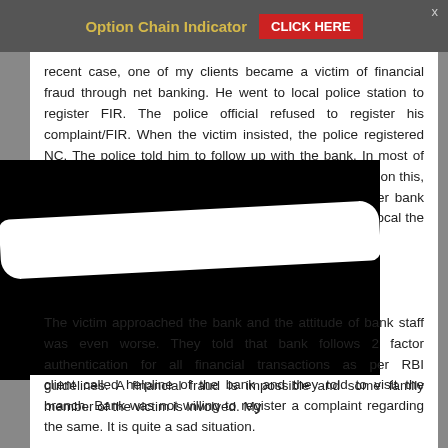Option Chain Indicator   CLICK HERE   x
recent case, one of my clients became a victim of financial fraud through net banking. He went to local police station to register FIR. The police official refused to register his complaint/FIR. When the victim insisted, the police registered NC. The police told him to follow up with the bank. In most of the cases, the value of financial fraud is low. Depending on this, takes it seriously. Until unless the value is high, neither bank nor police will swing into action. Let me be honest that local the officials are not [obscured text]
[Figure (other): Black overlay with white diagonal brush stroke obscuring middle portion of text]
The victim approached the bank and the attitude of bank staff was even worse. They told that bank follows 2 factor authentication for all financial transactions as per RBI guidelines. A financial fraud is impossible and some family member of the victim is involved. My client called helpline of the bank and they told to visit the branch. Bank was not willing to register a complaint regarding the same. It is quite a sad situation.